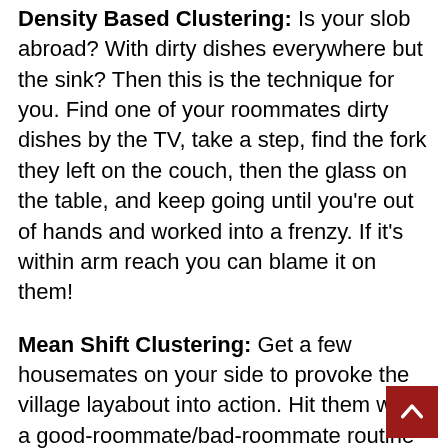Density Based Clustering: Is your slob abroad? With dirty dishes everywhere but the sink? Then this is the technique for you. Find one of your roommates dirty dishes by the TV, take a step, find the fork they left on the couch, then the glass on the table, and keep going until you’re out of hands and worked into a frenzy. If it’s within arm reach you can blame it on them!
Mean Shift Clustering: Get a few housemates on your side to provoke the village layabout into action. Hit them with a good-roommate/bad-roommate routine and watch how the dramatic tone shifts inspire them to rinse a few plates. Sure you shouldn’t have to stoop to being the mean one in the house, but